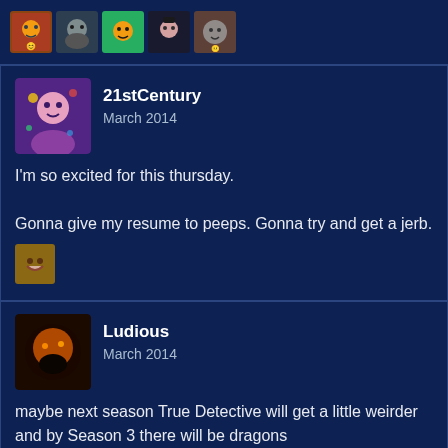[Figure (other): Top bar with 5 small user avatar icons]
21stCentury
March 2014

I'm so excited for this thursday.

Gonna give my resume to peeps. Gonna try and get a jerb.
[Figure (other): Small reaction emoji image]
Ludious
March 2014

maybe next season True Detective will get a little weirder and by Season 3 there will be dragons
[Figure (other): Small reaction emoji image]
Cinders